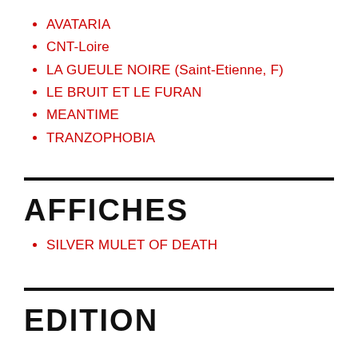AVATARIA
CNT-Loire
LA GUEULE NOIRE (Saint-Etienne, F)
LE BRUIT ET LE FURAN
MEANTIME
TRANZOPHOBIA
AFFICHES
SILVER MULET OF DEATH
EDITION